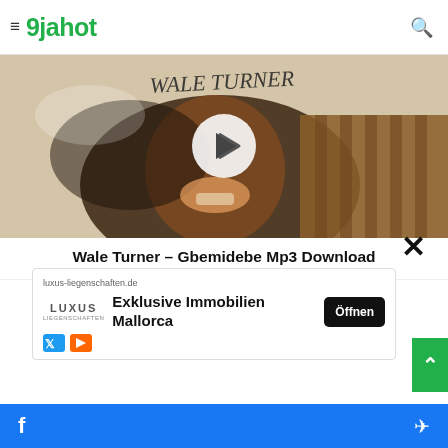9jahot
[Figure (photo): Album art / promo image for Wale Turner – Gbemidebe. Shows a young African person laughing joyfully against a mixed background with handwritten text 'WALE TURNER' at the top. A circular play button is overlaid in the center.]
Wale Turner – Gbemidebe Mp3 Download
[Figure (other): Advertisement overlay with close X button. Ad shows: luxus-liegenschaften.de | LUXUS LIEGENSCHAFTEN logo | Exklusive Immobilien Mallorca | Öffnen button]
[Figure (other): Bottom navigation bar with Facebook and Telegram share icons on a blue background]